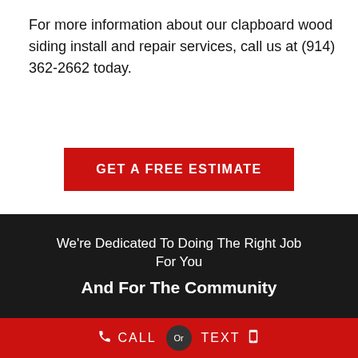For more information about our clapboard wood siding install and repair services, call us at (914) 362-2662 today.
GET A FREE ESTIMATE
We're Dedicated To Doing The Right Job For You
And For The Community
CALL  Or  TEXT